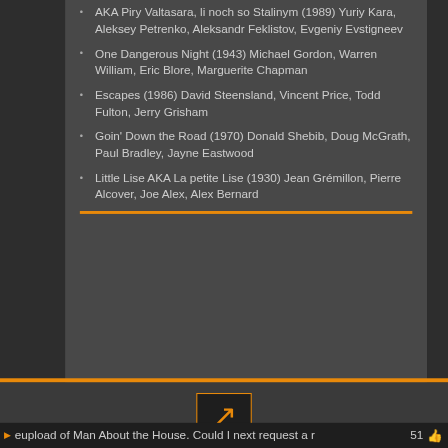AKA Piry Valtasara, li noch so Stalinym (1989) Yuriy Kara, Aleksey Petrenko, Aleksandr Feklistov, Evgeniy Evstigneev
One Dangerous Night (1943) Michael Gordon, Warren William, Eric Blore, Marguerite Chapman
Escapes (1986) David Steensland, Vincent Price, Todd Fulton, Jerry Grisham
Goin' Down the Road (1970) Donald Shebib, Doug McGrath, Paul Bradley, Jayne Eastwood
Little Lise AKA La petite Lise (1930) Jean Grémillon, Pierre Alcover, Joe Alex, Alex Bernard
eupload of Man About the House. Could I next request a r  51